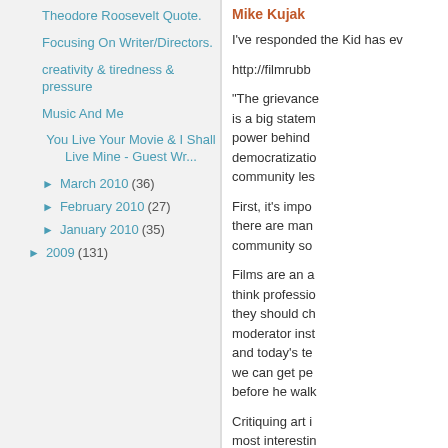Theodore Roosevelt Quote.
Focusing On Writer/Directors.
creativity & tiredness & pressure
Music And Me
You Live Your Movie & I Shall Live Mine - Guest Wr...
► March 2010 (36)
► February 2010 (27)
► January 2010 (35)
► 2009 (131)
Mike Kujak
I've responded the Kid has ev
http://filmrubb
"The grievance is a big statem power behind democratization community les
First, it's impo there are man community so
Films are an a think professio they should ch moderator inst and today's te we can get pe before he walk
Critiquing art i most interestin